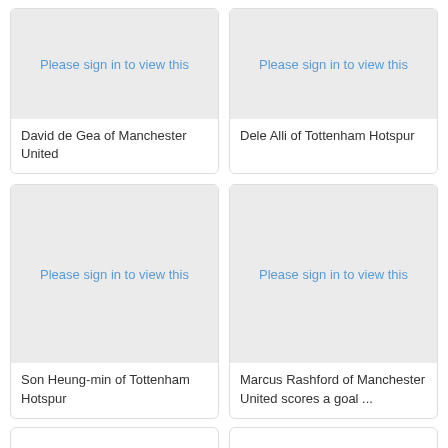[Figure (photo): Placeholder image for David de Gea of Manchester United — sign in to view]
David de Gea of Manchester United
[Figure (photo): Placeholder image for Dele Alli of Tottenham Hotspur — sign in to view]
Dele Alli of Tottenham Hotspur
[Figure (photo): Placeholder image for Son Heung-min of Tottenham Hotspur — sign in to view]
Son Heung-min of Tottenham Hotspur
[Figure (photo): Placeholder image for Marcus Rashford of Manchester United scores a goal ... — sign in to view]
Marcus Rashford of Manchester United scores a goal ...